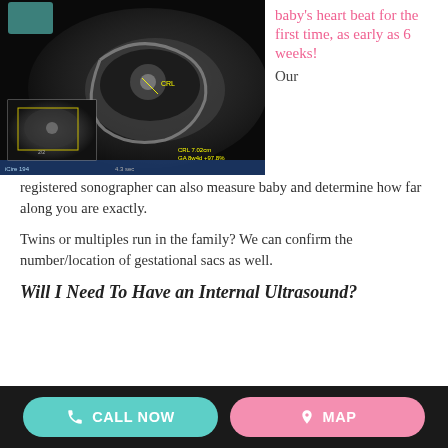[Figure (photo): Ultrasound scan image showing fetal heartbeat, with a smaller inset ultrasound image in the lower left corner. Yellow measurement markers and text overlays visible.]
baby's heart beat for the first time, as early as 6 weeks! Our registered sonographer can also measure baby and determine how far along you are exactly.
Twins or multiples run in the family? We can confirm the number/location of gestational sacs as well.
Will I Need To Have an Internal Ultrasound?
CALL NOW   MAP